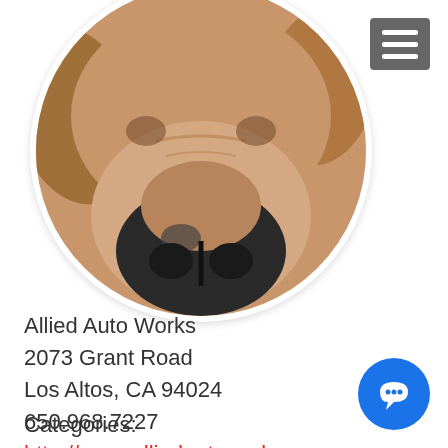[Figure (photo): Close-up circular photo of a brown dog's face and nose, viewed from above, cropped in a circle with white border]
[Figure (other): Hamburger menu icon (three horizontal white lines on gray background) in top-right corner]
Allied Auto Works
2073 Grant Road
Los Altos, CA 94024
650.968.7227
http://www.alliedautoworks.com
Categories:
[Figure (other): Blue circular chat/messaging button with three dots in bottom-right corner]